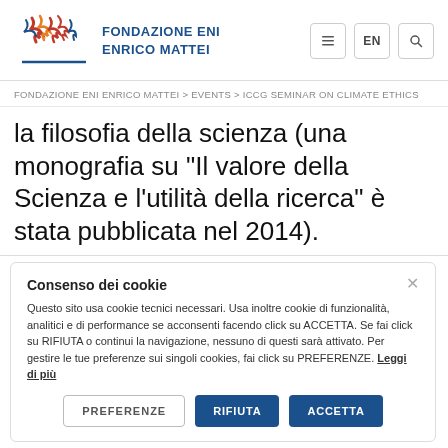FONDAZIONE ENI ENRICO MATTEI
FONDAZIONE ENI ENRICO MATTEI > EVENTS > ICCG SEMINAR ON CLIMATE ETHICS
la filosofia della scienza (una monografia su "Il valore della Scienza e l'utilità della ricerca" è stata pubblicata nel 2014).
Consenso dei cookie
Questo sito usa cookie tecnici necessari. Usa inoltre cookie di funzionalità, analitici e di performance se acconsenti facendo click su ACCETTA. Se fai click su RIFIUTA o continui la navigazione, nessuno di questi sarà attivato. Per gestire le tue preferenze sui singoli cookies, fai click su PREFERENZE. Leggi di più
PREFERENZE   RIFIUTA   ACCETTA